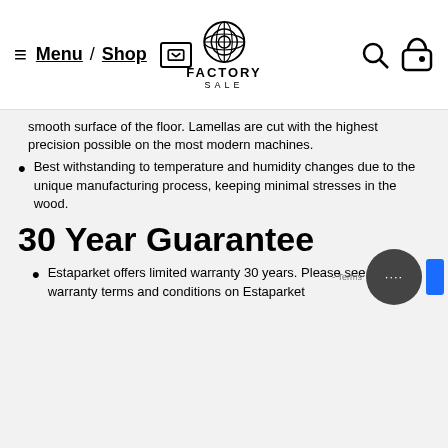Menu / Shop [icon] FACTORY SALE [search icon] [bag icon]
smooth surface of the floor. Lamellas are cut with the highest precision possible on the most modern machines.
Best withstanding to temperature and humidity changes due to the unique manufacturing process, keeping minimal stresses in the wood.
30 Year Guarantee
Estaparket offers limited warranty 30 years. Please see the warranty terms and conditions on Estaparket